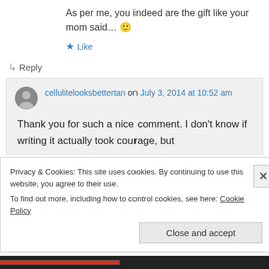As per me, you indeed are the gift like your mom said… 🙂
★ Like
↳ Reply
cellulitelooksbettertan on July 3, 2014 at 10:52 am
Thank you for such a nice comment. I don't know if writing it actually took courage, but
Privacy & Cookies: This site uses cookies. By continuing to use this website, you agree to their use.
To find out more, including how to control cookies, see here: Cookie Policy
Close and accept